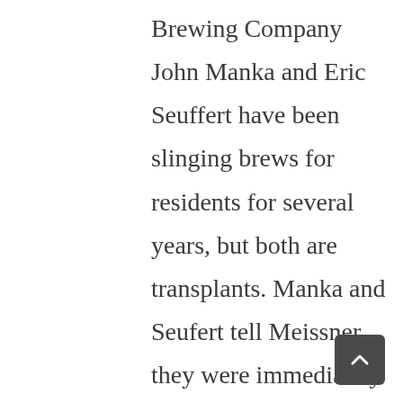Brewing Company John Manka and Eric Seuffert have been slinging brews for residents for several years, but both are transplants. Manka and Seufert tell Meissner they were immediately drawn to Castle Rock's beauty, sense of community, and bustling downtown. Mayor Jason Gray moved to Castle Rock in 1998 as part of his job path but when